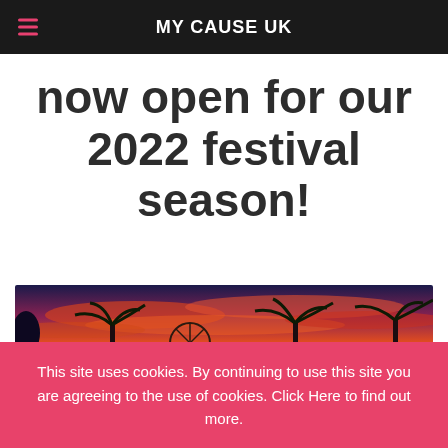MY CAUSE UK
now open for our 2022 festival season!
[Figure (photo): Festival scene with dramatic orange and red sunset sky, palm trees and fairground attractions silhouetted against the sky]
This site uses cookies. By continuing to use this site you are agreeing to the use of cookies. Click Here to find out more.